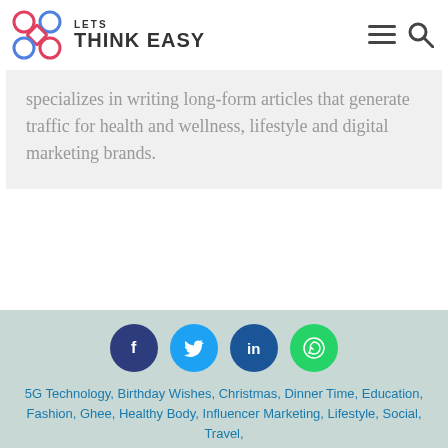LETS THINK EASY
specializes in writing long-form articles that generate traffic for health and wellness, lifestyle and digital marketing brands.
[Figure (infographic): Social media share buttons: Facebook, Twitter, LinkedIn, WhatsApp]
5G Technology, Birthday Wishes, Christmas, Dinner Time, Education, Fashion, Ghee, Healthy Body, Influencer Marketing, Lifestyle, Social, Travel